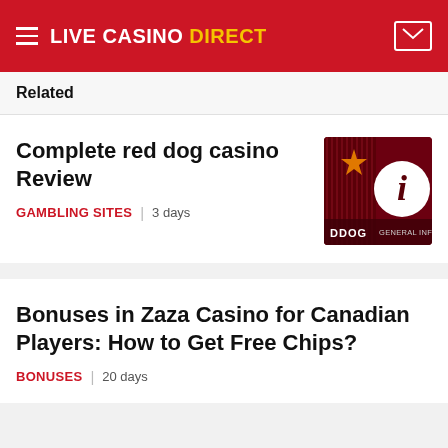LIVE CASINO DIRECT
Related
Complete red dog casino Review
GAMBLING SITES  3 days
[Figure (photo): Red Dog Casino thumbnail with info icon]
Bonuses in Zaza Casino for Canadian Players: How to Get Free Chips?
BONUSES  20 days